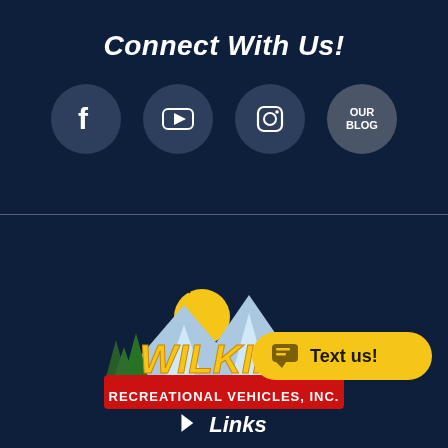Connect With Us!
[Figure (infographic): Four circular social media icons: Facebook (f), YouTube (play button), Instagram (camera), and 'OUR BLOG' text, all on dark navy background]
[Figure (logo): Wilkins Recreational Vehicles, Inc. logo with mountains, sun, trees, yellow text on red banner]
[Figure (infographic): Yellow rounded button with speech bubble icon and 'Text us!' text]
Links